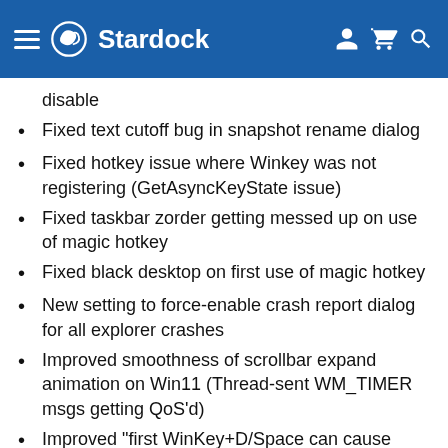Stardock
disable
Fixed text cutoff bug in snapshot rename dialog
Fixed hotkey issue where Winkey was not registering (GetAsyncKeyState issue)
Fixed taskbar zorder getting messed up on use of magic hotkey
Fixed black desktop on first use of magic hotkey
New setting to force-enable crash report dialog for all explorer crashes
Improved smoothness of scrollbar expand animation on Win11 (Thread-sent WM_TIMER msgs getting QoS'd)
Improved "first WinKey+D/Space can cause black flicker"
Fixed WinKey+Space, fence corners would be rounded even if rounded edges are off
Fixed issue with "Show Label on...